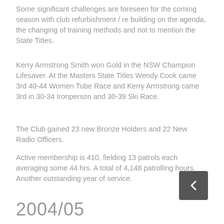Some significant challenges are foreseen for the coming season with club refurbishment / re building on the agenda, the changing of training methods and not to mention the State Titles.
Kerry Armstrong Smith won Gold in the NSW Champion Lifesaver. At the Masters State Titles Wendy Cook came 3rd 40-44 Women Tube Race and Kerry Armstrong came 3rd in 30-34 Ironperson and 30-39 Ski Race.
The Club gained 23 new Bronze Holders and 22 New Radio Officers.
Active membership is 410, fielding 13 patrols each averaging some 44 hrs. A total of 4,148 patrolling hours. Another outstanding year of service.
2004/05